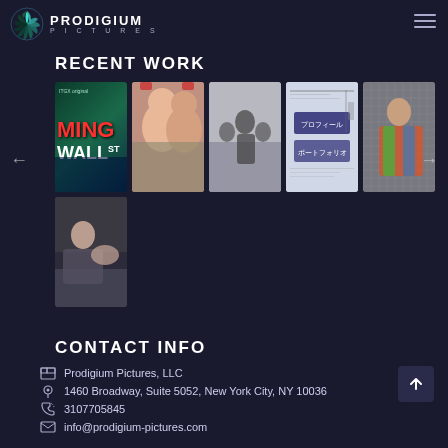PRODIGIUM PICTURES
RECENT WORK
[Figure (photo): Gallery of recent work thumbnails: IMAX film poster with text WALL ST, two women laughing eating ice cream, group of people silhouettes, Japanese profile/portfolio webpage screenshot, man in colorful jacket, man sitting on couch]
CONTACT INFO
Prodigium Pictures, LLC
1460 Broadway, Suite 5052, New York City, NY 10036
3107705845
info@prodigium-pictures.com